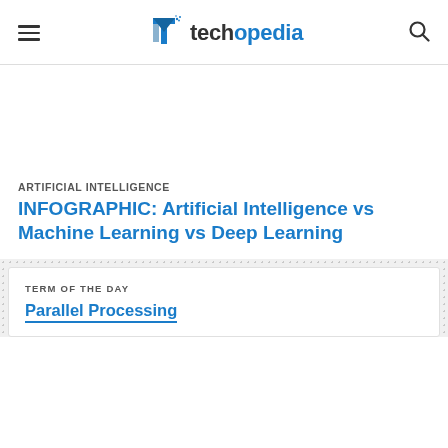techopedia
ARTIFICIAL INTELLIGENCE
INFOGRAPHIC: Artificial Intelligence vs Machine Learning vs Deep Learning
TERM OF THE DAY
Parallel Processing